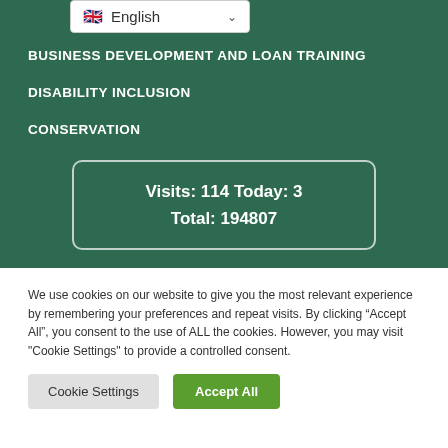[Figure (screenshot): Language selector dropdown showing UK flag and 'English' with a chevron]
BUSINESS DEVELOPMENT AND LOAN TRAINING
DISABILITY INCLUSION
CONSERVATION
Visits: 114 Today: 3
Total: 194807
We use cookies on our website to give you the most relevant experience by remembering your preferences and repeat visits. By clicking “Accept All”, you consent to the use of ALL the cookies. However, you may visit "Cookie Settings" to provide a controlled consent.
Cookie Settings | Accept All